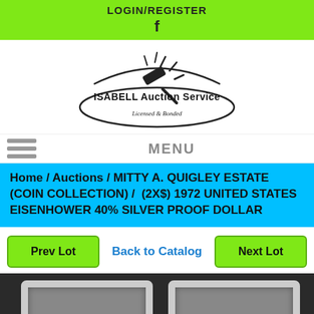LOGIN/REGISTER
[Figure (logo): Facebook 'f' logo icon in black on green background]
[Figure (logo): ISABELL Auction Service logo — auctioneer hammer with rays, oval border, text: ISABELL Auction Service, Licensed & Bonded]
MENU
Home / Auctions / MITTY A. QUIGLEY ESTATE (COIN COLLECTION) / (2X$) 1972 UNITED STATES EISENHOWER 40% SILVER PROOF DOLLAR
Prev Lot
Back to Catalog
Next Lot
[Figure (photo): Two silver coins in plastic square holders on dark background — partial view, bottom of page]